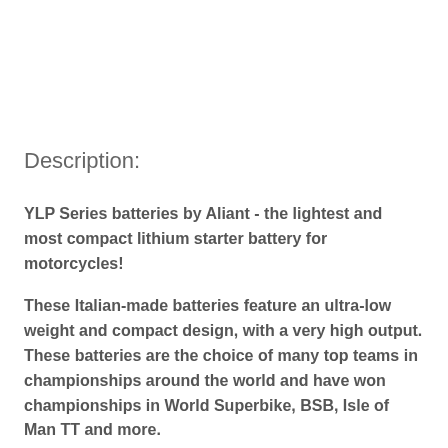Description:
YLP Series batteries by Aliant - the lightest and most compact lithium starter battery for motorcycles!
These Italian-made batteries feature an ultra-low weight and compact design, with a very high output. These batteries are the choice of many top teams in championships around the world and have won championships in World Superbike, BSB, Isle of Man TT and more.